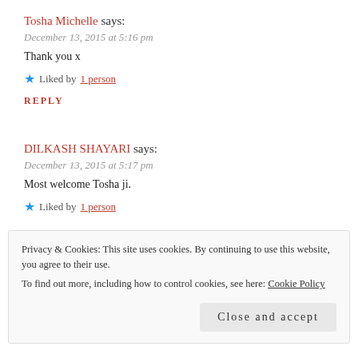Tosha Michelle says:
December 13, 2015 at 5:16 pm
Thank you x
Liked by 1 person
REPLY
DILKASH SHAYARI says:
December 13, 2015 at 5:17 pm
Most welcome Tosha ji.
Liked by 1 person
Privacy & Cookies: This site uses cookies. By continuing to use this website, you agree to their use. To find out more, including how to control cookies, see here: Cookie Policy
Close and accept